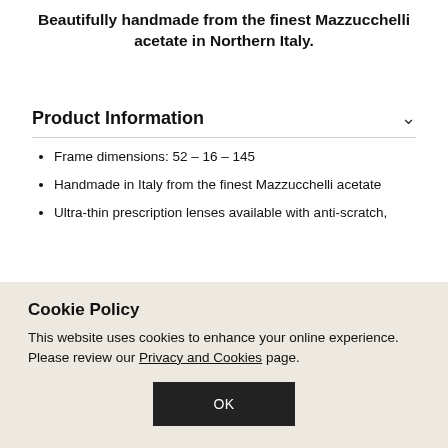Beautifully handmade from the finest Mazzucchelli acetate in Northern Italy.
Product Information
Frame dimensions: 52 – 16 – 145
Handmade in Italy from the finest Mazzucchelli acetate
Ultra-thin prescription lenses available with anti-scratch,
Cookie Policy
This website uses cookies to enhance your online experience. Please review our Privacy and Cookies page.
OK